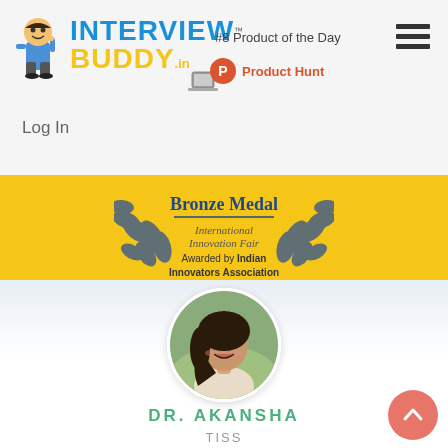[Figure (screenshot): Interview Buddy logo with cartoon mascot figure, blue and yellow text reading INTERVIEW BUDDY.in]
#8 Product of the Day
[Figure (logo): Product Hunt circular orange P logo with text 'Product Hunt']
[Figure (other): Hamburger menu icon (three horizontal lines)]
Log In
[Figure (other): Bronze Medal award badge with laurel wreath, text: Bronze Medal, International Innovation Fair, Awarded by Indian Innovators Association]
[Figure (photo): Circular profile photo of Dr. Akansha, a woman smiling with long dark hair]
DR. AKANSHA
TISS
I do not think there is any scope for improvement. You guys are that good!